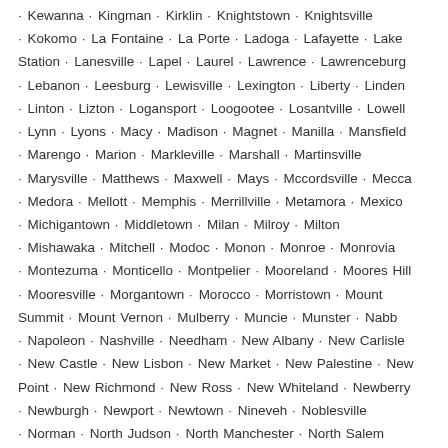Kewanna · Kingman · Kirklin · Knightstown · Knightsville · Kokomo · La Fontaine · La Porte · Ladoga · Lafayette · Lake Station · Lanesville · Lapel · Laurel · Lawrence · Lawrenceburg · Lebanon · Leesburg · Lewisville · Lexington · Liberty · Linden · Linton · Lizton · Logansport · Loogootee · Losantville · Lowell · Lynn · Lyons · Macy · Madison · Magnet · Manilla · Mansfield · Marengo · Marion · Markleville · Marshall · Martinsville · Marysville · Matthews · Maxwell · Mays · Mccordsville · Mecca · Medora · Mellott · Memphis · Merrillville · Metamora · Mexico · Michigantown · Middletown · Milan · Milroy · Milton · Mishawaka · Mitchell · Modoc · Monon · Monroe · Monrovia · Montezuma · Monticello · Montpelier · Mooreland · Moores Hill · Mooresville · Morgantown · Morocco · Morristown · Mount Summit · Mount Vernon · Mulberry · Muncie · Munster · Nabb · Napoleon · Nashville · Needham · New Albany · New Carlisle · New Castle · New Lisbon · New Market · New Palestine · New Point · New Richmond · New Ross · New Whiteland · Newberry · Newburgh · Newport · Newtown · Nineveh · Noblesville · Norman · North Judson · North Manchester · North Salem